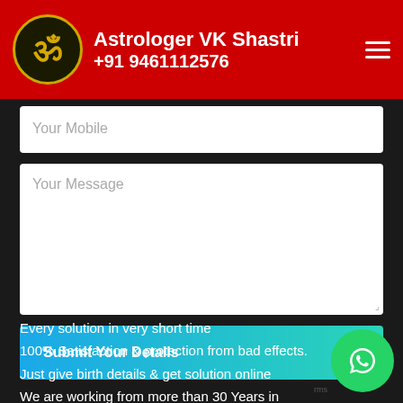Astrologer VK Shastri +91 9461112576
Your Mobile
Your Message
Submit Your Details
Why Choose Us
Your privacy is our policy
Every solution in very short time
100% Satisfaction & protection from bad effects.
Just give birth details & get solution online
We are working from more than 30 Years in Astrology